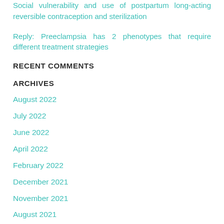Social vulnerability and use of postpartum long-acting reversible contraception and sterilization
Reply: Preeclampsia has 2 phenotypes that require different treatment strategies
RECENT COMMENTS
ARCHIVES
August 2022
July 2022
June 2022
April 2022
February 2022
December 2021
November 2021
August 2021
July 2021
June 2021